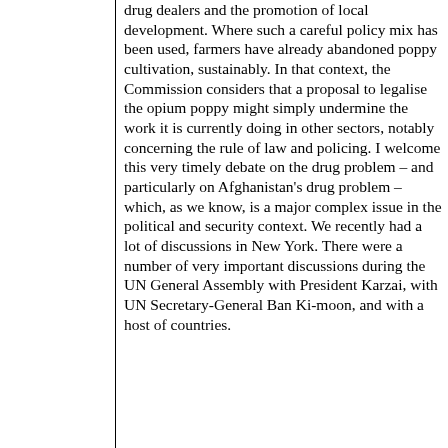drug dealers and the promotion of local development. Where such a careful policy mix has been used, farmers have already abandoned poppy cultivation, sustainably. In that context, the Commission considers that a proposal to legalise the opium poppy might simply undermine the work it is currently doing in other sectors, notably concerning the rule of law and policing. I welcome this very timely debate on the drug problem – and particularly on Afghanistan's drug problem – which, as we know, is a major complex issue in the political and security context. We recently had a lot of discussions in New York. There were a number of very important discussions during the UN General Assembly with President Karzai, with UN Secretary-General Ban Ki-moon, and with a host of countries.